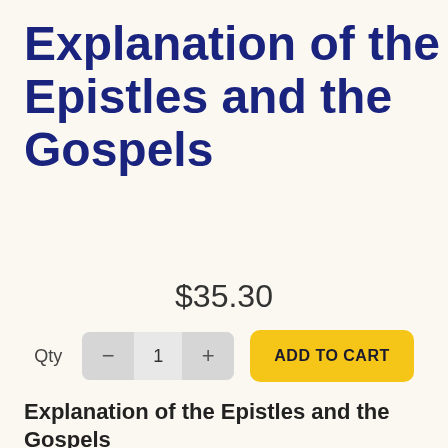Explanation of the Epistles and the Gospels
$35.30
Qty  -  1  +  ADD TO CART
Explanation of the Epistles and the Gospels
FOR THE SUNDAYS, HOLY DAYS AND FESTIVALS THROUGHOUT THE